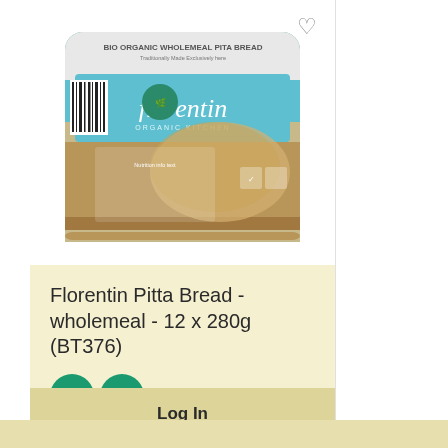[Figure (photo): Product photo of Florentin Bio Organic Wholemeal Pita Bread packaging with teal branding label and barcode]
Florentin Pitta Bread - wholemeal - 12 x 280g (BT376)
[Figure (other): Two circular green badges labeled 'O' and 'VE']
Log In
Register